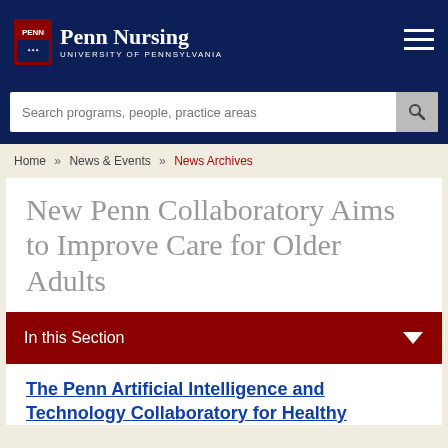Penn Nursing — University of Pennsylvania
Search programs, people, practice areas
Home » News & Events » News Archives
New Penn Collaboratory Aims to Improve Care for Older Adults
In this Section
The Penn Artificial Intelligence and Technology Collaboratory for Healthy